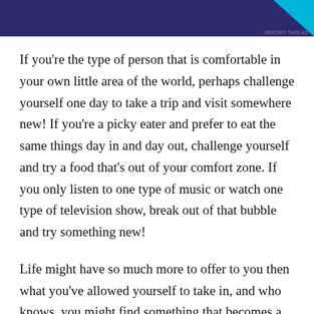[Figure (other): Advertisement banner with dark navy/indigo background and cyan triangle accent in upper right corner. Small 'REPORT THIS AD' label at bottom right.]
If you're the type of person that is comfortable in your own little area of the world, perhaps challenge yourself one day to take a trip and visit somewhere new! If you're a picky eater and prefer to eat the same things day in and day out, challenge yourself and try a food that's out of your comfort zone. If you only listen to one type of music or watch one type of television show, break out of that bubble and try something new!
Life might have so much more to offer to you then what you've allowed yourself to take in, and who knows, you might find something that becomes a new favorite of yours. But, you sure as well won't find